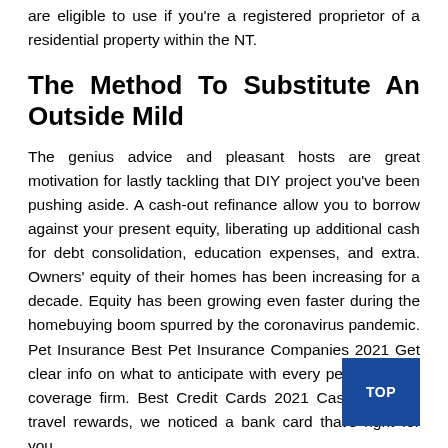are eligible to use if you're a registered proprietor of a residential property within the NT.
The Method To Substitute An Outside Mild
The genius advice and pleasant hosts are great motivation for lastly tackling that DIY project you've been pushing aside. A cash-out refinance allow you to borrow against your present equity, liberating up additional cash for debt consolidation, education expenses, and extra. Owners' equity of their homes has been increasing for a decade. Equity has been growing even faster during the homebuying boom spurred by the coronavirus pandemic. Pet Insurance Best Pet Insurance Companies 2021 Get clear info on what to anticipate with every pet insurance coverage firm. Best Credit Cards 2021 Cash again or travel rewards, we noticed a bank card that's right for you.
Aged Like Fine Wine: 9 Iconic